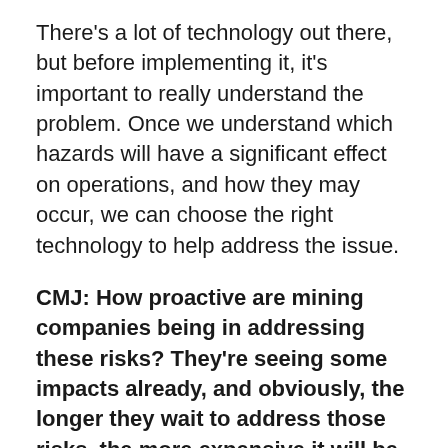There's a lot of technology out there, but before implementing it, it's important to really understand the problem. Once we understand which hazards will have a significant effect on operations, and how they may occur, we can choose the right technology to help address the issue.
CMJ: How proactive are mining companies being in addressing these risks? They're seeing some impacts already, and obviously, the longer they wait to address those risks, the more expensive it will be later on.
SB: There has been a steady rise in interest for climate change risk